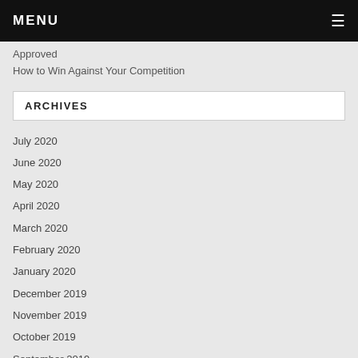MENU
Approved
How to Win Against Your Competition
ARCHIVES
July 2020
June 2020
May 2020
April 2020
March 2020
February 2020
January 2020
December 2019
November 2019
October 2019
September 2019
August 2019
July 2019